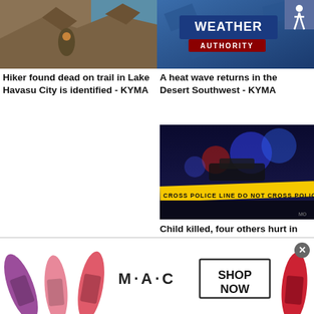[Figure (photo): Person sitting on rocky terrain overlooking water with desert landscape]
[Figure (screenshot): Weather Authority TV graphic with blue background and accessibility icon]
Hiker found dead on trail in Lake Havasu City is identified - KYMA
A heat wave returns in the Desert Southwest - KYMA
[Figure (photo): Night scene with police car lights and yellow police crime scene tape reading POLICE LINE DO NOT CROSS]
Child killed, four others hurt in school bus crash in Arizona - KYMA
[Figure (photo): M·A·C cosmetics advertisement showing colorful lipsticks with SHOP NOW button]